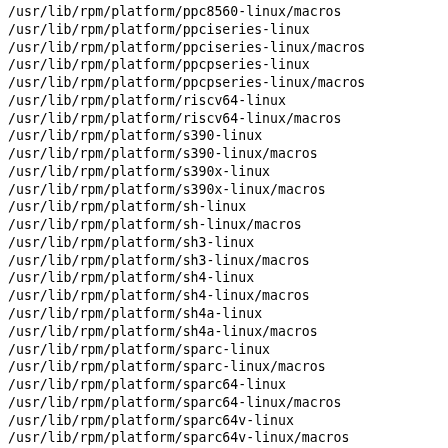/usr/lib/rpm/platform/ppc8560-linux/macros
/usr/lib/rpm/platform/ppciseries-linux
/usr/lib/rpm/platform/ppciseries-linux/macros
/usr/lib/rpm/platform/ppcpseries-linux
/usr/lib/rpm/platform/ppcpseries-linux/macros
/usr/lib/rpm/platform/riscv64-linux
/usr/lib/rpm/platform/riscv64-linux/macros
/usr/lib/rpm/platform/s390-linux
/usr/lib/rpm/platform/s390-linux/macros
/usr/lib/rpm/platform/s390x-linux
/usr/lib/rpm/platform/s390x-linux/macros
/usr/lib/rpm/platform/sh-linux
/usr/lib/rpm/platform/sh-linux/macros
/usr/lib/rpm/platform/sh3-linux
/usr/lib/rpm/platform/sh3-linux/macros
/usr/lib/rpm/platform/sh4-linux
/usr/lib/rpm/platform/sh4-linux/macros
/usr/lib/rpm/platform/sh4a-linux
/usr/lib/rpm/platform/sh4a-linux/macros
/usr/lib/rpm/platform/sparc-linux
/usr/lib/rpm/platform/sparc-linux/macros
/usr/lib/rpm/platform/sparc64-linux
/usr/lib/rpm/platform/sparc64-linux/macros
/usr/lib/rpm/platform/sparc64v-linux
/usr/lib/rpm/platform/sparc64v-linux/macros
/usr/lib/rpm/platform/sparcv8-linux
/usr/lib/rpm/platform/sparcv8-linux/macros
/usr/lib/rpm/platform/sparcv9-linux
/usr/lib/rpm/platform/sparcv9-linux/macros
/usr/lib/rpm/platform/sparcv9v-linux